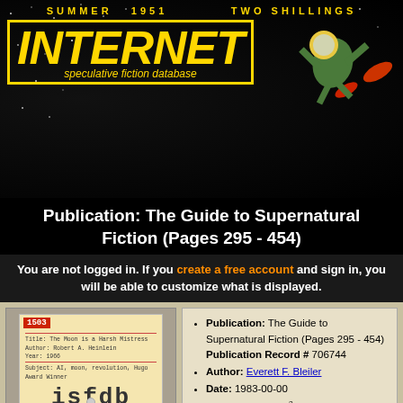[Figure (logo): Internet Speculative Fiction Database banner with yellow INTERNET logo on black starfield background, with spaceman/astronaut illustration on right]
Publication: The Guide to Supernatural Fiction (Pages 295 - 454)
You are not logged in. If you create a free account and sign in, you will be able to customize what is displayed.
[Figure (illustration): ISFDB library card style logo showing card number 1503, title The Moon is a Harsh Mistress, author Robert A. Heinlein, year 1966, and isfdb text in monospace]
Search the database
Publication: The Guide to Supernatural Fiction (Pages 295 - 454) Publication Record # 706744
Author: Everett F. Bleiler
Date: 1983-00-00
Format: unknown
Type: NONFICTION
Notes: For technical reasons the entries for this publication have